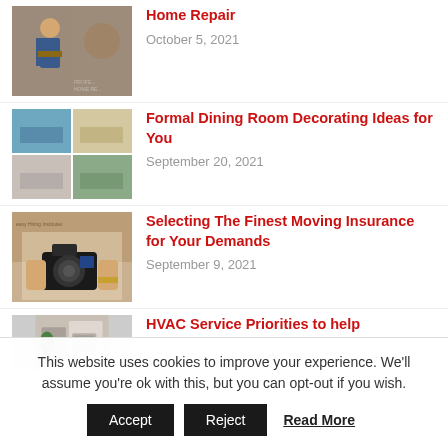[Figure (photo): Professional home repair worker thumbnail]
Home Repair
October 5, 2021
[Figure (photo): Formal dining room collage of four dining room images]
Formal Dining Room Decorating Ideas for You
September 20, 2021
[Figure (photo): Person holding a camera, moving insurance article thumbnail]
Selecting The Finest Moving Insurance for Your Demands
September 9, 2021
[Figure (photo): HVAC equipment or room thumbnail]
HVAC Service Priorities to help
This website uses cookies to improve your experience. We'll assume you're ok with this, but you can opt-out if you wish.